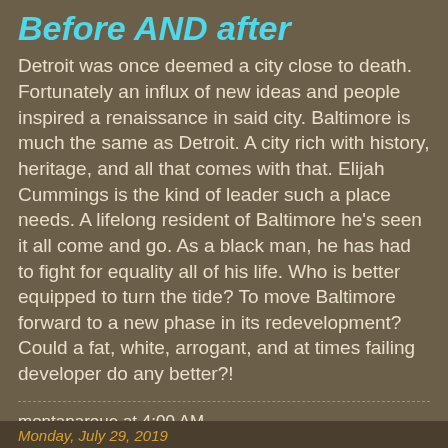Before AND after
Detroit was once deemed a city close to death. Fortunately an influx of new ideas and people inspired a renaissance in said city. Baltimore is much the same as Detroit. A city rich with history, heritage, and all that comes with that. Elijah Cummings is the kind of leader such a place needs. A lifelong resident of Baltimore he's seen it all come and go. As a black man, he has had to fight for equality all of his life. Who is better equipped to turn the tide? To move Baltimore forward to a new phase in its redevelopment? Could a fat, white, arrogant, and at times failing developer do any better?!
montanaroue at 4:00 AM
Share
Monday, July 29, 2019